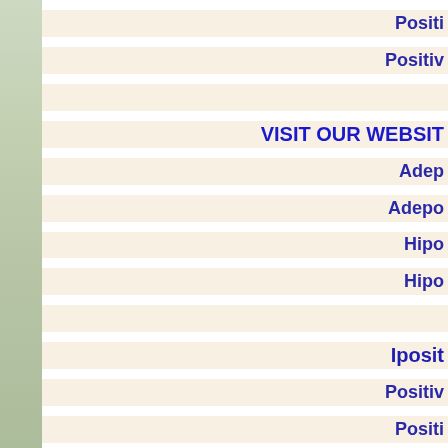Positiv...
Positiv...
VISIT OUR WEBSITE
Adep...
Adepo...
Hipo...
Hipo...
Iposit...
Positiv...
Positi...